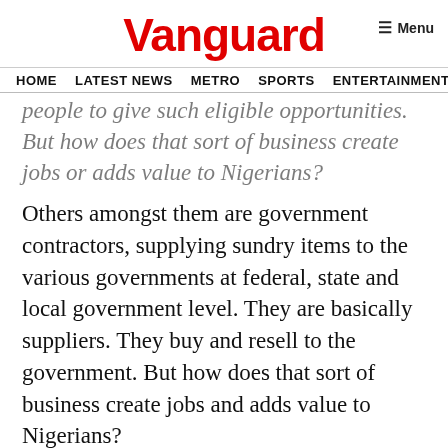Vanguard
Menu
HOME  LATEST NEWS  METRO  SPORTS  ENTERTAINMENT  VIDEOS
people to give such eligible opportunities. But how does that sort of business create jobs or adds value to Nigerians?
Others amongst them are government contractors, supplying sundry items to the various governments at federal, state and local government level. They are basically suppliers. They buy and resell to the government. But how does that sort of business create jobs and adds value to Nigerians?